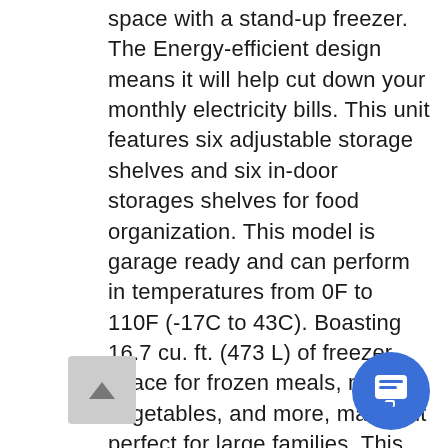space with a stand-up freezer. The Energy-efficient design means it will help cut down your monthly electricity bills. This unit features six adjustable storage shelves and six in-door storages shelves for food organization. This model is garage ready and can perform in temperatures from 0F to 110F (-17C to 43C). Boasting 16.7 cu. ft. (473 L) of freezer space for frozen meals, meats, vegetables, and more, making it perfect for large families. This unit features a white interior and stainless look exterior design with a digital thermostat for maximum accuracy and a bright interior light that makes it an easy task to find your favorite frozen foods. A door ajar alarm and a high-temperature alarm help prevent food spoilage. Included an industry-leading 5-year warranty on and labor with in-home service.